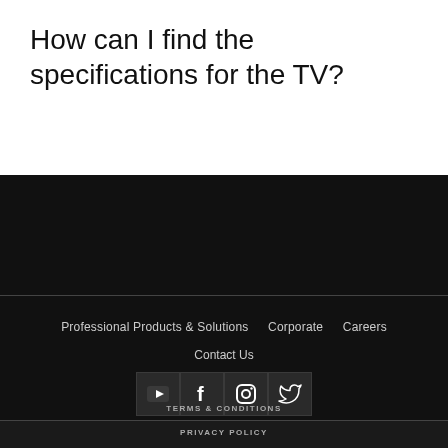How can I find the specifications for the TV?
Singapore
Professional Products & Solutions   Corporate   Careers
Contact Us
[Figure (other): Social media icons: YouTube, Facebook, Instagram, Twitter]
TERMS & CONDITIONS
PRIVACY POLICY